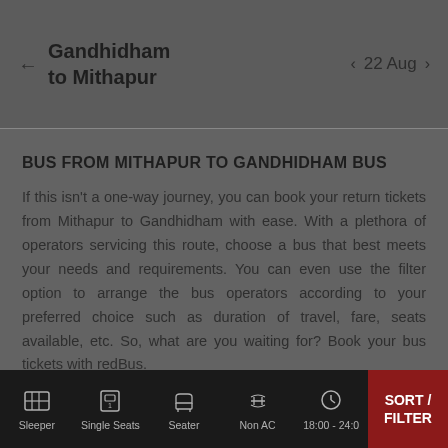Gandhidham to Mithapur   22 Aug
BUS FROM MITHAPUR TO GANDHIDHAM BUS
If this isn't a one-way journey, you can book your return tickets from Mithapur to Gandhidham with ease. With a plethora of operators servicing this route, choose a bus that best meets your needs and requirements. You can even use the filter option to arrange the bus operators according to your preferred choice such as duration of travel, fare, seats available, etc. So, what are you waiting for? Book your bus tickets with redBus.
Top Bus Operator Images
Sleeper | Single Seats | Seater | Non AC | 18:00 - 24:0 | SORT / FILTER